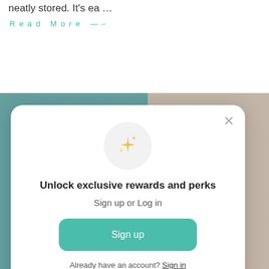neatly stored. It's ea …
Read More →
[Figure (screenshot): Background showing a teal/green room image and a blurred photo, partially visible behind a modal dialog.]
Unlock exclusive rewards and perks
Sign up or Log in
Sign up
Already have an account? Sign in